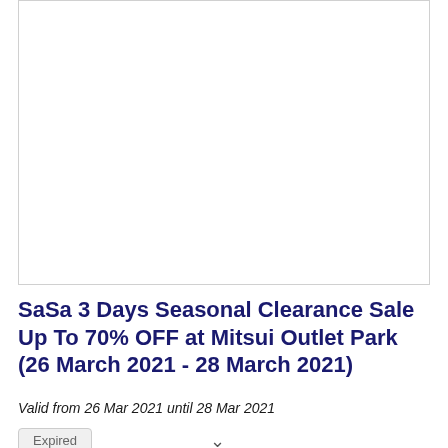[Figure (photo): White empty image box with light border — product/promotional image placeholder for SaSa clearance sale]
SaSa 3 Days Seasonal Clearance Sale Up To 70% OFF at Mitsui Outlet Park (26 March 2021 - 28 March 2021)
Valid from 26 Mar 2021 until 28 Mar 2021